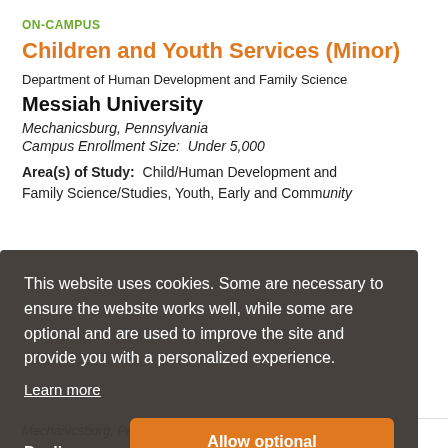ON-CAMPUS
Children and Youth Services (Minor)
Department of Human Development and Family Science
Messiah University
Mechanicsburg, Pennsylvania
Campus Enrollment Size:  Under 5,000
Area(s) of Study:  Child/Human Development and Family Science/Studies, Youth, Early and Community...
This website uses cookies. Some are necessary to ensure the website works well, while some are optional and are used to improve the site and provide you with a personalized experience.
Learn more
Decline
Allow optional cookies
Mechanicsburg, Pennsylvania